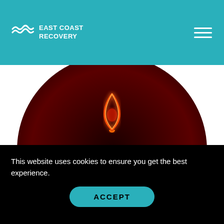[Figure (logo): East Coast Recovery logo with wave icon and text on teal header background]
[Figure (photo): Dark circular image showing a glowing red neon light bulb shape against a dark red/black background]
To Conclude
This website uses cookies to ensure you get the best experience.